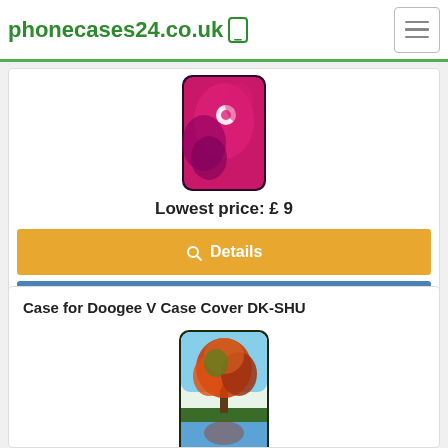phonecases24.co.uk
Lowest price: £ 9
Details
Check on amazon
Case for Doogee V Case Cover DK-SHU
[Figure (photo): Phone case product image - pink floral design]
[Figure (photo): Phone case product image - autumn tree design]